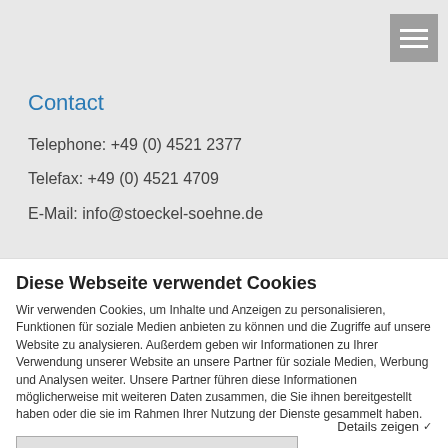[Figure (screenshot): Hamburger menu icon (three white bars) on grey background, top-right corner of website]
Contact
Telephone: +49 (0) 4521 2377
Telefax: +49 (0) 4521 4709
E-Mail: info@stoeckel-soehne.de
Diese Webseite verwendet Cookies
Wir verwenden Cookies, um Inhalte und Anzeigen zu personalisieren, Funktionen für soziale Medien anbieten zu können und die Zugriffe auf unsere Website zu analysieren. Außerdem geben wir Informationen zu Ihrer Verwendung unserer Website an unsere Partner für soziale Medien, Werbung und Analysen weiter. Unsere Partner führen diese Informationen möglicherweise mit weiteren Daten zusammen, die Sie ihnen bereitgestellt haben oder die sie im Rahmen Ihrer Nutzung der Dienste gesammelt haben.
Nur notwendige Cookies verwenden
Cookies zulassen
Details zeigen